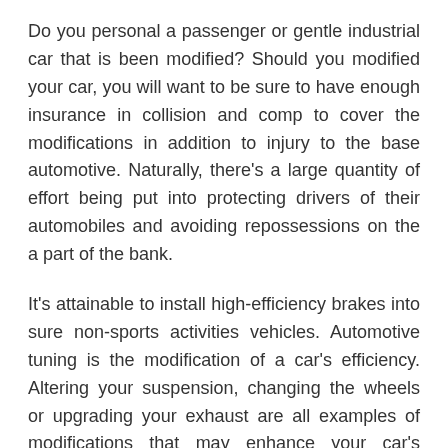Do you personal a passenger or gentle industrial car that is been modified? Should you modified your car, you will want to be sure to have enough insurance in collision and comp to cover the modifications in addition to injury to the base automotive. Naturally, there's a large quantity of effort being put into protecting drivers of their automobiles and avoiding repossessions on the a part of the bank.
It's attainable to install high-efficiency brakes into sure non-sports activities vehicles. Automotive tuning is the modification of a car's efficiency. Altering your suspension, changing the wheels or upgrading your exhaust are all examples of modifications that may enhance your car's performance.
When you start modifying your automobile with